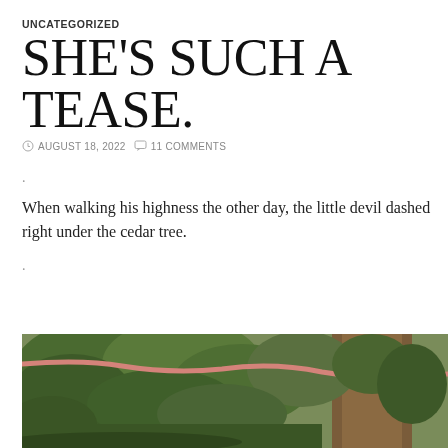UNCATEGORIZED
SHE'S SUCH A TEASE.
AUGUST 18, 2022   11 COMMENTS
.
When walking his highness the other day, the little devil dashed right under the cedar tree.
.
[Figure (photo): Outdoor photo of a cedar tree with dense green foliage and a large tree trunk, with a leash or rope visible in the foreground.]